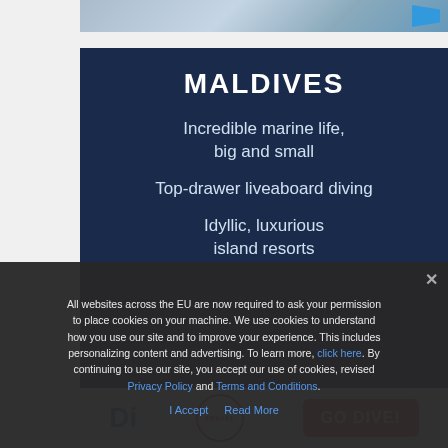[Figure (photo): Partial top image strip showing a travel/diving related scene with blue shapes]
[Figure (infographic): Dark navy blue promotional card for Maldives travel featuring text about marine life, liveaboard diving, and island resorts]
MALDIVES
Incredible marine life, big and small
Top-drawer liveaboard diving
Idyllic, luxurious island resorts
[Figure (logo): Bottom white strip with DI logo, Travel badge, and GO DIVE! button]
All websites across the EU are now required to ask your permission to place cookies on your machine. We use cookies to understand how you use our site and to improve your experience. This includes personalizing content and advertising. To learn more, click here. By continuing to use our site, you accept our use of cookies, revised Privacy Policy and Terms and Conditions.
I Accept   Read More